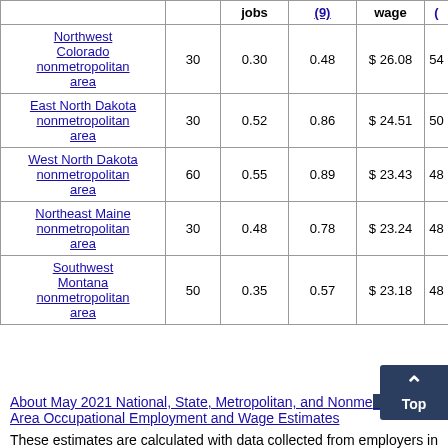| Area |  | jobs | (9) | Wage | ( |
| --- | --- | --- | --- | --- | --- |
| Northwest Colorado nonmetropolitan area | 30 | 0.30 | 0.48 | $ 26.08 | 54 |
| East North Dakota nonmetropolitan area | 30 | 0.52 | 0.86 | $ 24.51 | 50 |
| West North Dakota nonmetropolitan area | 60 | 0.55 | 0.89 | $ 23.43 | 48 |
| Northeast Maine nonmetropolitan area | 30 | 0.48 | 0.78 | $ 23.24 | 48 |
| Southwest Montana nonmetropolitan area | 50 | 0.35 | 0.57 | $ 23.18 | 48 |
About May 2021 National, State, Metropolitan, and Nonmetropolitan Area Occupational Employment and Wage Estimates
These estimates are calculated with data collected from employers in